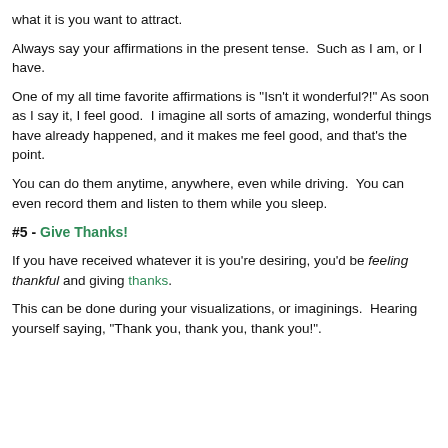what it is you want to attract.
Always say your affirmations in the present tense.  Such as I am, or I have.
One of my all time favorite affirmations is "Isn't it wonderful?!" As soon as I say it, I feel good.  I imagine all sorts of amazing, wonderful things have already happened, and it makes me feel good, and that's the point.
You can do them anytime, anywhere, even while driving.  You can even record them and listen to them while you sleep.
#5 - Give Thanks!
If you have received whatever it is you're desiring, you'd be feeling thankful and giving thanks.
This can be done during your visualizations, or imaginings.  Hearing yourself saying, "Thank you, thank you, thank you!".